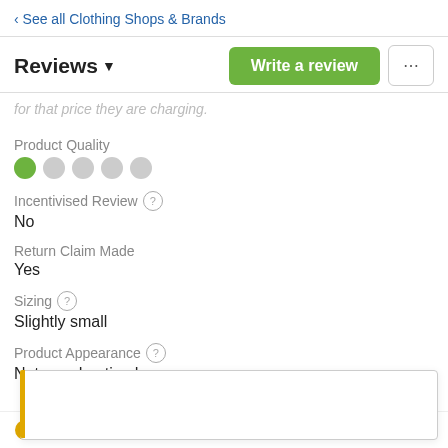‹ See all Clothing Shops & Brands
Reviews ▾
for that price they are charging.
Product Quality
Incentivised Review ? No
Return Claim Made Yes
Sizing ? Slightly small
Product Appearance ? Not as advertised
♥ 1 like   Share   ··· More
Send a private message